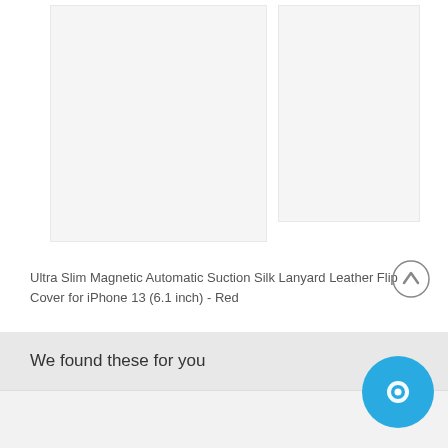[Figure (photo): Two product images side by side (faded/white-washed) showing a phone case - left image larger, right image smaller]
Ultra Slim Magnetic Automatic Suction Silk Lanyard Leather Flip Cover for iPhone 13 (6.1 inch) - Red
We found these for you